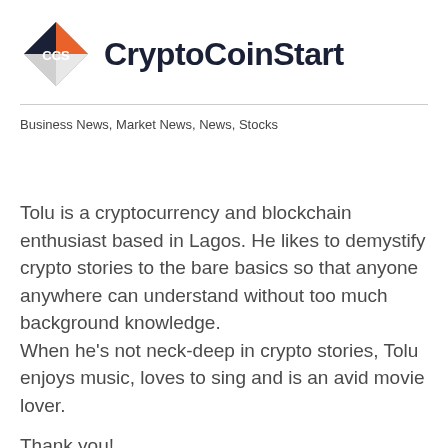CryptoCoinStart
Business News, Market News, News, Stocks
Tolu is a cryptocurrency and blockchain enthusiast based in Lagos. He likes to demystify crypto stories to the bare basics so that anyone anywhere can understand without too much background knowledge.
When he's not neck-deep in crypto stories, Tolu enjoys music, loves to sing and is an avid movie lover.
Thank you!